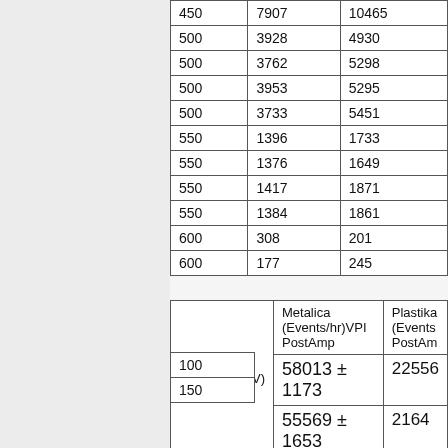| 450 | 7907 | 10465 |
| 500 | 3928 | 4930 |
| 500 | 3762 | 5298 |
| 500 | 3953 | 5295 |
| 500 | 3733 | 5451 |
| 550 | 1396 | 1733 |
| 550 | 1376 | 1649 |
| 550 | 1417 | 1871 |
| 550 | 1384 | 1861 |
| 600 | 308 | 201 |
| 600 | 177 | 245 |
| Threshold(mV) | Metalica (Events/hr)VPI PostAmp | Plastika (Events...)PostAmp |
| --- | --- | --- |
| 100 | 58013 ± 1173 | 22556... |
| 150 | 55569 ± 1653 | 2164... |